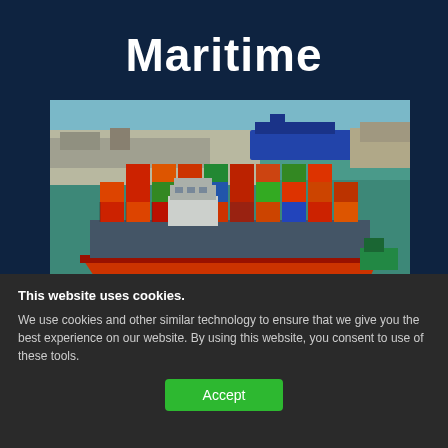Maritime
[Figure (photo): Aerial view of a large container ship loaded with colorful shipping containers in a port, with blue/teal harbor water and dock visible in background]
This website uses cookies.
We use cookies and other similar technology to ensure that we give you the best experience on our website. By using this website, you consent to use of these tools.
Accept